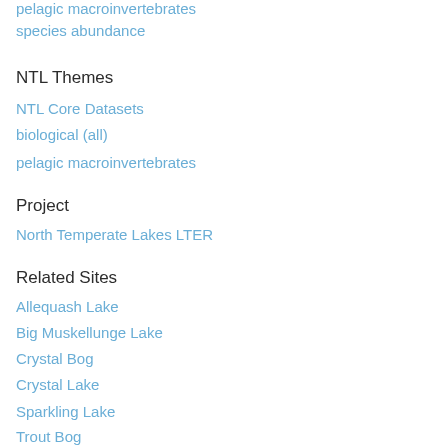pelagic macroinvertebrates
species abundance
NTL Themes
NTL Core Datasets
biological (all)
pelagic macroinvertebrates
Project
North Temperate Lakes LTER
Related Sites
Allequash Lake
Big Muskellunge Lake
Crystal Bog
Crystal Lake
Sparkling Lake
Trout Bog